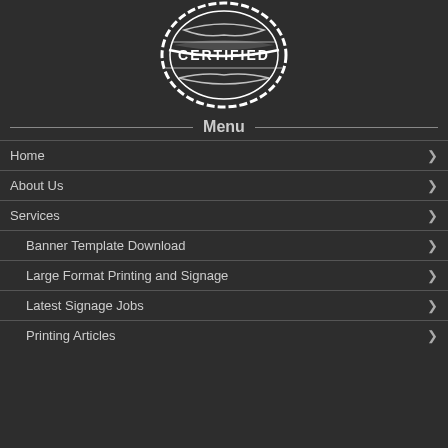[Figure (logo): Certified stamp logo, white on dark background, circular shape with ribbon]
Menu
Home
About Us
Services
Banner Template Download
Large Format Printing and Signage
Latest Signage Jobs
Printing Articles